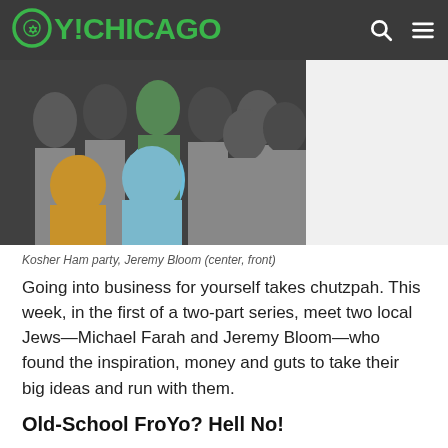OY!CHICAGO
[Figure (photo): Group photo of people at a Kosher Ham party, wearing Kosher Ham branded t-shirts. Jeremy Bloom is visible in the center front.]
Kosher Ham party, Jeremy Bloom (center, front)
Going into business for yourself takes chutzpah. This week, in the first of a two-part series, meet two local Jews—Michael Farah and Jeremy Bloom—who found the inspiration, money and guts to take their big ideas and run with them.
Old-School FroYo? Hell No!